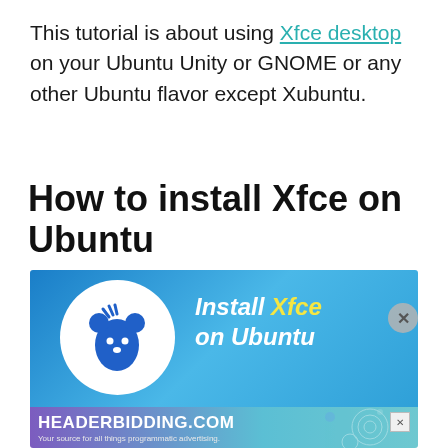This tutorial is about using Xfce desktop on your Ubuntu Unity or GNOME or any other Ubuntu flavor except Xubuntu.
How to install Xfce on Ubuntu
[Figure (screenshot): Banner image showing Xfce mouse logo icon in white circle on blue gradient background with text 'Install Xfce on Ubuntu' in white and yellow italic bold font. Below is an ad banner for HEADERBIDDING.COM with subtitle 'Your source for all things programmatic advertising.']